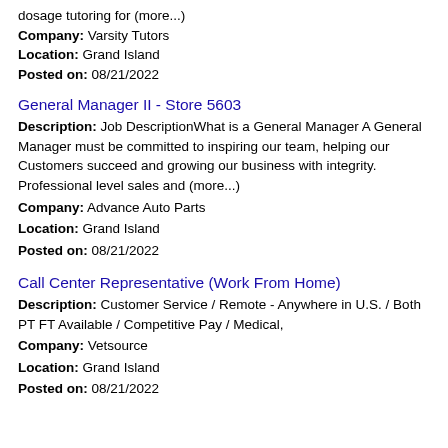dosage tutoring for (more...)
Company: Varsity Tutors
Location: Grand Island
Posted on: 08/21/2022
General Manager II - Store 5603
Description: Job DescriptionWhat is a General Manager A General Manager must be committed to inspiring our team, helping our Customers succeed and growing our business with integrity. Professional level sales and (more...)
Company: Advance Auto Parts
Location: Grand Island
Posted on: 08/21/2022
Call Center Representative (Work From Home)
Description: Customer Service / Remote - Anywhere in U.S. / Both PT FT Available / Competitive Pay / Medical,
Company: Vetsource
Location: Grand Island
Posted on: 08/21/2022